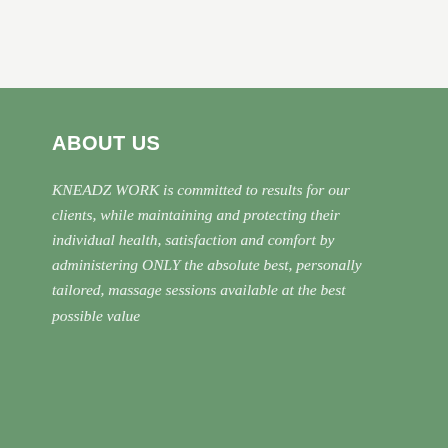ABOUT US
KNEADZ WORK is committed to results for our clients, while maintaining and protecting their individual health, satisfaction and comfort by administering ONLY the absolute best, personally tailored, massage sessions available at the best possible value